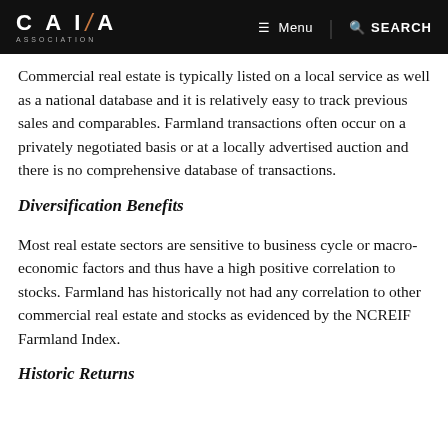CAIA ASSOCIATION | Menu | SEARCH
Commercial real estate is typically listed on a local service as well as a national database and it is relatively easy to track previous sales and comparables. Farmland transactions often occur on a privately negotiated basis or at a locally advertised auction and there is no comprehensive database of transactions.
Diversification Benefits
Most real estate sectors are sensitive to business cycle or macro-economic factors and thus have a high positive correlation to stocks. Farmland has historically not had any correlation to other commercial real estate and stocks as evidenced by the NCREIF Farmland Index.
Historic Returns